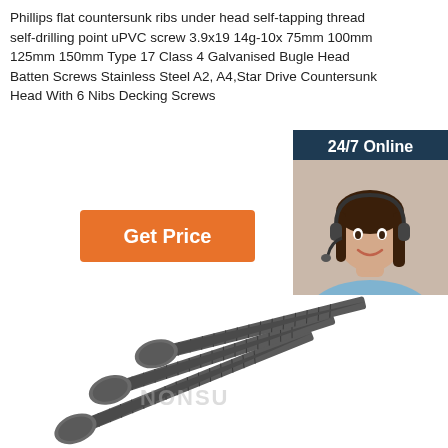Phillips flat countersunk ribs under head self-tapping thread self-drilling point uPVC screw 3.9x19 14g-10x 75mm 100mm 125mm 150mm Type 17 Class 4 Galvanised Bugle Head Batten Screws Stainless Steel A2, A4,Star Drive Countersunk Head With 6 Nibs Decking Screws
[Figure (other): Orange 'Get Price' button]
[Figure (photo): Customer service representative with headset, with '24/7 Online' header, 'Click here for free chat!' text, and orange QUOTATION button on dark blue background]
[Figure (photo): Three dark grey/black self-tapping screws with bugle heads arranged diagonally, with watermark text 'NONSU']